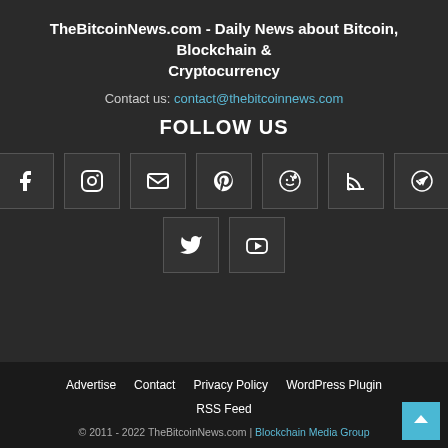TheBitcoinNews.com - Daily News about Bitcoin, Blockchain & Cryptocurrency
Contact us: contact@thebitcoinnews.com
FOLLOW US
[Figure (other): Social media icons row 1: Facebook, Instagram, Email, Pinterest, Reddit, RSS, Telegram]
[Figure (other): Social media icons row 2: Twitter, YouTube]
Advertise   Contact   Privacy Policy   WordPress Plugin   RSS Feed   © 2011 - 2022 TheBitcoinNews.com | Blockchain Media Group